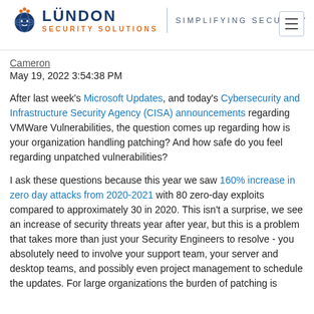[Figure (logo): London Security Solutions logo with icon, blue LONDON text, orange SECURITY SOLUTIONS text, divider, and SIMPLIFYING SECURITY tagline]
Cameron
May 19, 2022 3:54:38 PM
After last week's Microsoft Updates, and today's Cybersecurity and Infrastructure Security Agency (CISA) announcements regarding VMWare Vulnerabilities, the question comes up regarding how is your organization handling patching?  And how safe do you feel regarding unpatched vulnerabilities?
I ask these questions because this year we saw 160% increase in zero day attacks from 2020-2021 with 80 zero-day exploits compared to approximately 30 in 2020.  This isn't a surprise, we see an increase of security threats year after year, but this is a problem that takes more than just your Security Engineers to resolve - you absolutely need to involve your support team, your server and desktop teams, and possibly even project management to schedule the updates.  For large organizations the burden of patching is